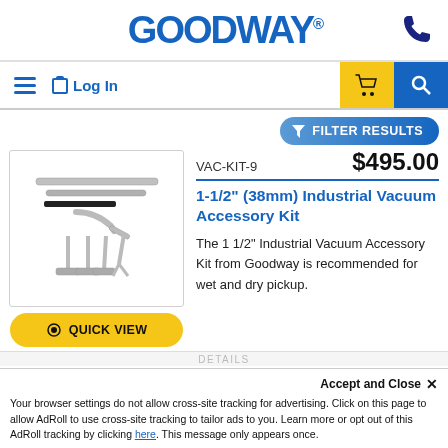[Figure (logo): Goodway logo in bold blue text with registered trademark symbol]
Log In  [cart icon]  [search icon]
FILTER RESULTS
VAC-KIT-9   $495.00
[Figure (photo): 1-1/2 inch Industrial Vacuum Accessory Kit with various tubes, wands and attachments on white background]
1-1/2" (38mm) Industrial Vacuum Accessory Kit
The 1 1/2" Industrial Vacuum Accessory Kit from Goodway is recommended for wet and dry pickup.
QUICK VIEW
Accept and Close ×
Your browser settings do not allow cross-site tracking for advertising. Click on this page to allow AdRoll to use cross-site tracking to tailor ads to you. Learn more or opt out of this AdRoll tracking by clicking here. This message only appears once.